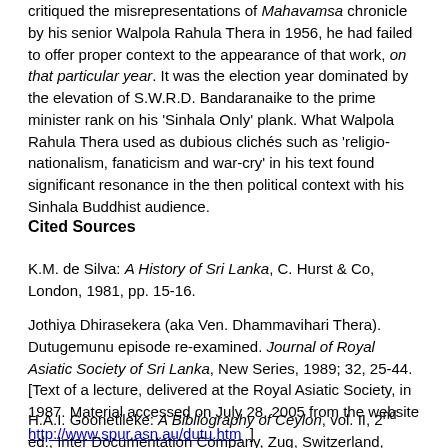critiqued the misrepresentations of Mahavamsa chronicle by his senior Walpola Rahula Thera in 1956, he had failed to offer proper context to the appearance of that work, on that particular year. It was the election year dominated by the elevation of S.W.R.D. Bandaranaike to the prime minister rank on his 'Sinhala Only' plank. What Walpola Rahula Thera used as dubious clichés such as 'religio-nationalism, fanaticism and war-cry' in his text found significant resonance in the then political context with his Sinhala Buddhist audience.
Cited Sources
K.M. de Silva: A History of Sri Lanka, C. Hurst & Co, London, 1981, pp. 15-16.
Jothiya Dhirasekera (aka Ven. Dhammavihari Thera). Dutugemunu episode re-examined. Journal of Royal Asiatic Society of Sri Lanka, New Series, 1989; 32, 25-44. [Text of a lecture, delivered at the Royal Asiatic Society, in 1987. Material accessed on July 28, 2005 from the website http://www.spur.asn.au/dutu.htm ]
H.A.I. Goonetileke: A Bibliography of Ceylon, vol. II, 2nd ed., Inter Documentation Company, Zug, Switzerland, 1973. (originally published, 1970).